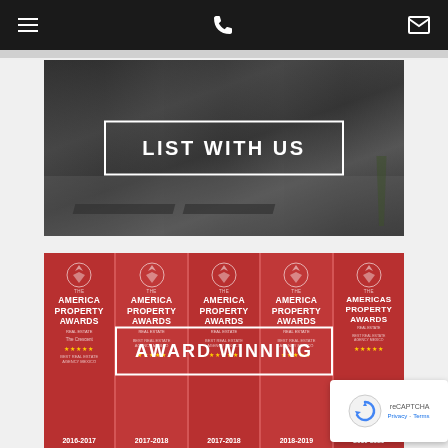Navigation bar with hamburger menu, phone icon, and email icon
[Figure (photo): Black and white photo of a luxury beachfront property with lounge chairs and pool area, overlaid with 'LIST WITH US' text in a white border box]
[Figure (photo): Red award plaques for Americas Property Awards real estate, with 'AWARD WINNING' text overlaid in a white border box. Five award plaques visible side by side for years 2016-2017 through 2019-2020+]